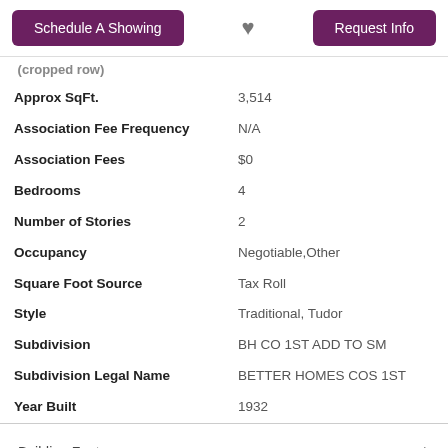Schedule A Showing | [heart] | Request Info
| Property | Value |
| --- | --- |
| Approx SqFt. | 3,514 |
| Association Fee Frequency | N/A |
| Association Fees | $0 |
| Bedrooms | 4 |
| Number of Stories | 2 |
| Occupancy | Negotiable,Other |
| Square Foot Source | Tax Roll |
| Style | Traditional, Tudor |
| Subdivision | BH CO 1ST ADD TO SM |
| Subdivision Legal Name | BETTER HOMES COS 1ST |
| Year Built | 1932 |
Building Features
Room Features